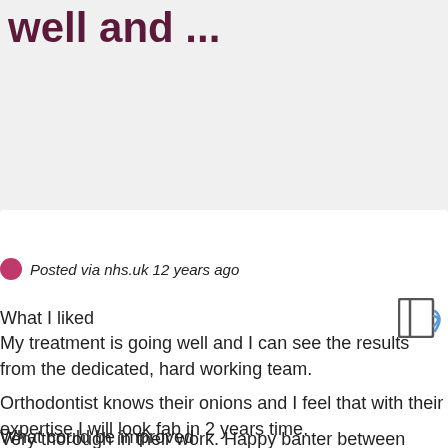well and ...
Story from nhs.uk
Posted via nhs.uk 12 years ago
What I liked
My treatment is going well and I can see the results from the dedicated, hard working team.
Orthodontist knows their onions and I feel that with their expertise I will look fab in 2 years time.
Very thorough in their work. Happy banter between nurses made me laugh.
What could be improved